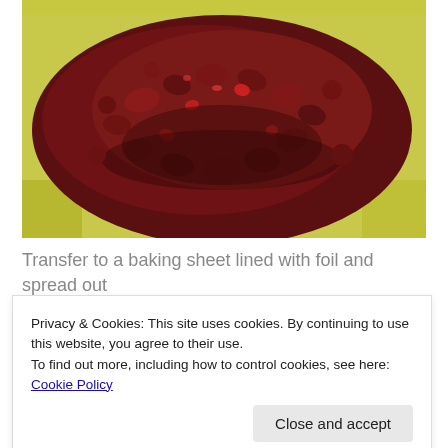[Figure (photo): Close-up photo of dried cranberries/chopped dark red dried fruit spread on a yellow/green cutting board surface]
Transfer to a baking sheet lined with foil and spread out in a single layer. Bake for 15 minutes, stirring every 5
Privacy & Cookies: This site uses cookies. By continuing to use this website, you agree to their use.
To find out more, including how to control cookies, see here: Cookie Policy
Close and accept
[Figure (photo): Partial view of another food photo at the bottom of the page]